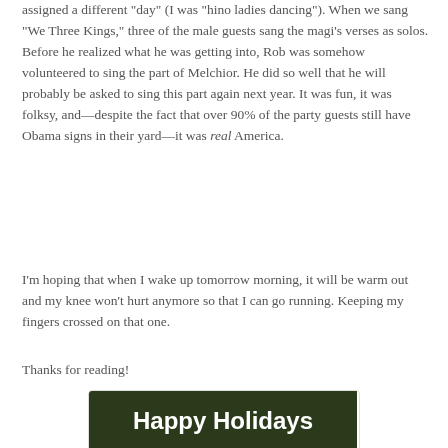assigned a different "day" (I was "hino ladies dancing"). When we sang “We Three Kings,” three of the male guests sang the magi’s verses as solos. Before he realized what he was getting into, Rob was somehow volunteered to sing the part of Melchior. He did so well that he will probably be asked to sing this part again next year. It was fun, it was folksy, and—despite the fact that over 90% of the party guests still have Obama signs in their yard—it was real America.
I’m hoping that when I wake up tomorrow morning, it will be warm out and my knee won’t hurt anymore so that I can go running. Keeping my fingers crossed on that one.
Thanks for reading!
[Figure (photo): A holiday greeting card photo showing two people reflected inside a shiny Christmas ornament hanging on a tree, with 'Happy Holidays' text overlaid at the top in white.]